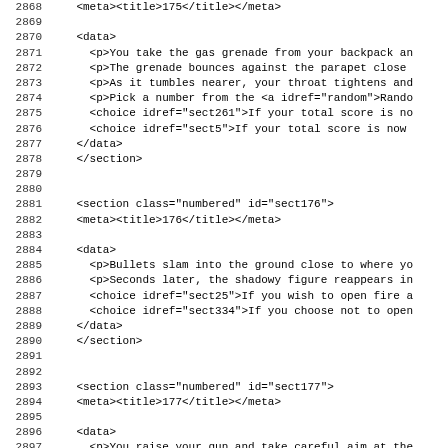Code listing lines 2867-2899, XML source code for a gamebook.
2868    <meta><title>175</title></meta>
2869
2870    <data>
2871      <p>You take the gas grenade from your backpack an
2872      <p>The grenade bounces against the parapet close
2873      <p>As it tumbles nearer, your throat tightens and
2874      <p>Pick a number from the <a idref="random">Rando
2875      <choice idref="sect261">If your total score is no
2876      <choice idref="sect5">If your total score is now
2877    </data>
2878    </section>
2879
2880
2881    <section class="numbered" id="sect176">
2882    <meta><title>176</title></meta>
2883
2884    <data>
2885      <p>Bullets slam into the ground close to where yo
2886      <p>Seconds later, the shadowy figure reappears in
2887      <choice idref="sect25">If you wish to open fire a
2888      <choice idref="sect334">If you choose not to open
2889    </data>
2890    </section>
2891
2892
2893    <section class="numbered" id="sect177">
2894    <meta><title>177</title></meta>
2895
2896    <data>
2897      <p>You raise your gun and take careful aim at the
2898      <p>Pick a number from the <a idref="random">Rando
2899      <choice idref="sect222">If your total score is 8